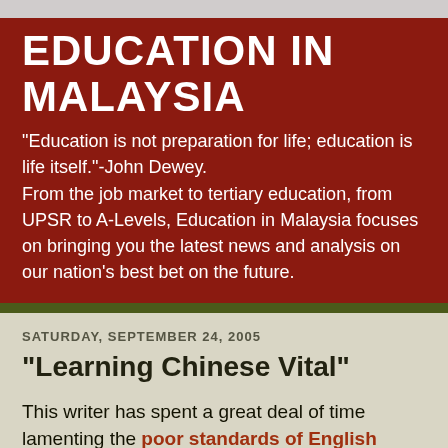EDUCATION IN MALAYSIA
"Education is not preparation for life; education is life itself."-John Dewey.
From the job market to tertiary education, from UPSR to A-Levels, Education in Malaysia focuses on bringing you the latest news and analysis on our nation's best bet on the future.
SATURDAY, SEPTEMBER 24, 2005
"Learning Chinese Vital"
This writer has spent a great deal of time lamenting the poor standards of English among many of our Malaysian graduates (irrespective of overseas or local). However, it